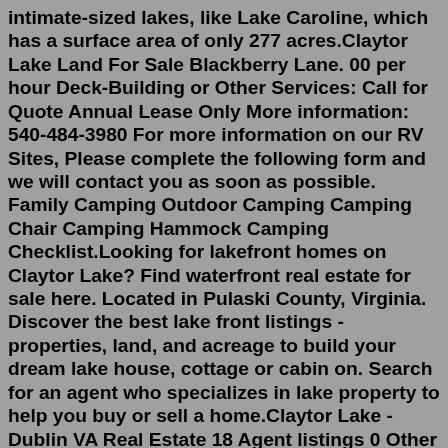intimate-sized lakes, like Lake Caroline, which has a surface area of only 277 acres.Claytor Lake Land For Sale Blackberry Lane. 00 per hour Deck-Building or Other Services: Call for Quote Annual Lease Only More information: 540-484-3980 For more information on our RV Sites, Please complete the following form and we will contact you as soon as possible. Family Camping Outdoor Camping Camping Chair Camping Hammock Camping Checklist.Looking for lakefront homes on Claytor Lake? Find waterfront real estate for sale here. Located in Pulaski County, Virginia. Discover the best lake front listings - properties, land, and acreage to build your dream lake house, cottage or cabin on. Search for an agent who specializes in lake property to help you buy or sell a home.Claytor Lake - Dublin VA Real Estate 18 Agent listings 0 Other listings Sort by: 4582 Mallard Point Way UNIT 6, Dublin, VA 24084 GRAVITY REAL ESTATE GROUP, INC. $550,000 2 bds 3 ba 2,054 sqft - Townhouse for sale 3 days on Zillow Listings provided by New River Valley